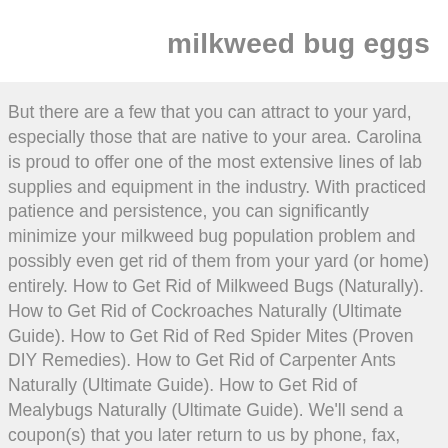milkweed bug eggs
But there are a few that you can attract to your yard, especially those that are native to your area. Carolina is proud to offer one of the most extensive lines of lab supplies and equipment in the industry. With practiced patience and persistence, you can significantly minimize your milkweed bug population problem and possibly even get rid of them from your yard (or home) entirely. How to Get Rid of Milkweed Bugs (Naturally). How to Get Rid of Cockroaches Naturally (Ultimate Guide). How to Get Rid of Red Spider Mites (Proven DIY Remedies). How to Get Rid of Carpenter Ants Naturally (Ultimate Guide). How to Get Rid of Mealybugs Naturally (Ultimate Guide). We'll send a coupon(s) that you later return to us by phone, fax, Web, or mail to tell us when you want the organisms delivered. Contact us or return the coupon at least 2 weeks in advance to schedule delivery at the proper time of year.